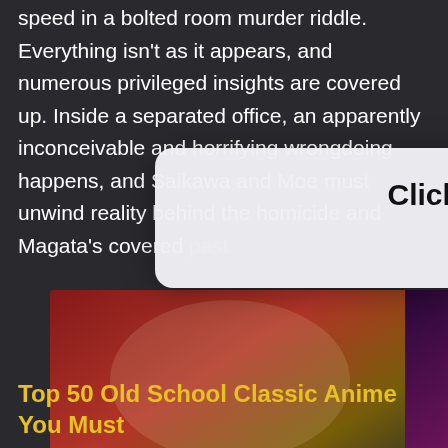speed in a bolted room murder riddle. Everything isn't as it appears, and numerous privileged insights are covered up. Inside a separated office, an apparently inconceivable and horrifying wrongdoing happens, and Saikawa and Moe must unwind reality behind the homicide and Magata's covered past.
[Figure (screenshot): Mobile dialog popup with white rounded rectangle overlay showing 'Click OK to Continue' in bold black text and 'OK' in blue link text below]
[Figure (photo): Two anime series image thumbnails side by side: left shows Kabaneri of the Iron Fortress with action characters and logo text 'KABANERI OF THE IRON FORTRESS', right shows Mob Psycho 100 with stylized pink/purple text logo and anime characters]
Top 50 Old School Classic Anime You Must